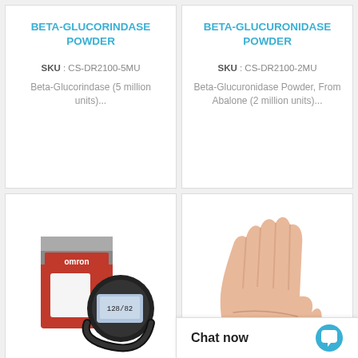BETA-GLUCORINDASE POWDER
SKU : CS-DR2100-5MU
Beta-Glucorindase (5 million units)...
BETA-GLUCURONIDASE POWDER
SKU : CS-DR2100-2MU
Beta-Glucuronidase Powder, From Abalone (2 million units)...
[Figure (photo): Omron blood pressure monitor device with box packaging]
[Figure (photo): A human hand shown palm-up against white background]
Chat now